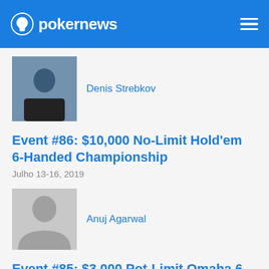pokernews
[Figure (photo): Photo of Denis Strebkov, a young man in a black shirt at a poker table]
Denis Strebkov
Event #86: $10,000 No-Limit Hold'em 6-Handed Championship
Julho 13-16, 2019
[Figure (photo): Placeholder avatar silhouette for Anuj Agarwal]
Anuj Agarwal
Event #85: $3,000 Pot-Limit Omaha 6-Handed
Julho 12-15, 2019
[Figure (photo): Photo of Alan Sternberg at a poker table]
Alan Sternberg
Event #84: The Closer $1,500 No-Limit...